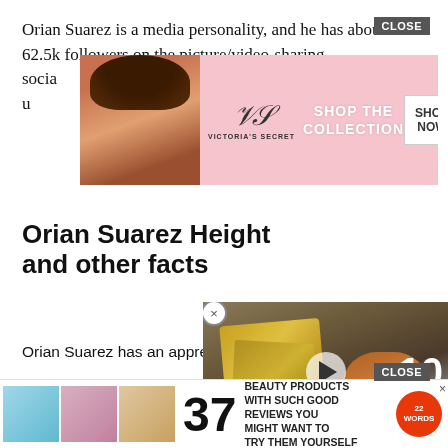Orian Suarez is a media personality, and he has about 62.5k followers on the picture/video-sharing social with the u
[Figure (advertisement): Victoria's Secret banner ad with close button, model photo, VS logo, SHOP THE COLLECTION text, and SHOP NOW button]
Orian Suarez Height and other facts
Orian Suarez has an appre... 6ft 2inches ( 1.87m or 187... about 78kg. He has a built... hair and eyes.
[Figure (screenshot): Video overlay showing a man with cash and a dog, with 'only 10 minutes' text and a play button, with close X]
Orian Suarez Nationalit...
[Figure (advertisement): Bottom ad: 37 Beauty Products With Such Good Reviews You Might Want To Try Them Yourself, with 22 Words badge and close button]